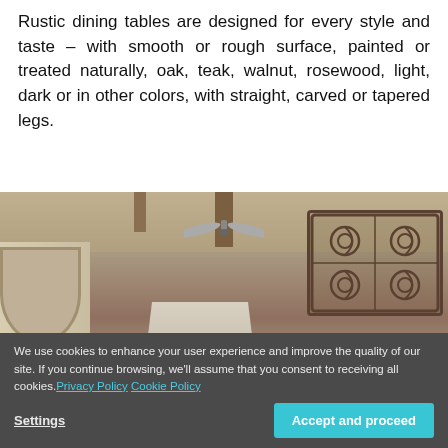Rustic dining tables are designed for every style and taste – with smooth or rough surface, painted or treated naturally, oak, teak, walnut, rosewood, light, dark or in other colors, with straight, carved or tapered legs.
[Figure (photo): Interior kitchen/dining area showing a ceiling with wooden beams, ceiling fan, white arched walls, a metal range hood, and ornate iron wall decoration on the right side. A red banner overlay is visible near the bottom center.]
We use cookies to enhance your user experience and improve the quality of our site. If you continue browsing, we'll assume that you consent to receiving all cookies. Privacy Policy  Cookie Policy
Settings
Accept and proceed